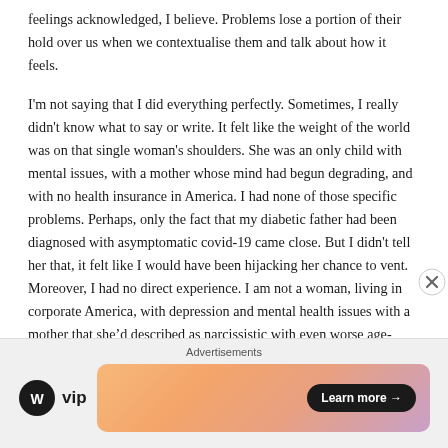feelings acknowledged, I believe. Problems lose a portion of their hold over us when we contextualise them and talk about how it feels.
I'm not saying that I did everything perfectly. Sometimes, I really didn't know what to say or write. It felt like the weight of the world was on that single woman's shoulders. She was an only child with mental issues, with a mother whose mind had begun degrading, and with no health insurance in America. I had none of those specific problems. Perhaps, only the fact that my diabetic father had been diagnosed with asymptomatic covid-19 came close. But I didn't tell her that, it felt like I would have been hijacking her chance to vent. Moreover, I had no direct experience. I am not a woman, living in corporate America, with depression and mental health issues with a mother that she'd described as narcissistic with even worse age-related mental issues. Hence, all I did was listen and try to offer encouragement, to remind her to keep walking through the storm to sunnier places. That's the best I could do
[Figure (other): Advertisement bar at bottom of page with 'Advertisements' label, WordPress VIP logo on left, and a gradient banner with 'Learn more →' button on right, plus a close (X) button overlay]